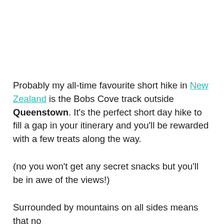Probably my all-time favourite short hike in New Zealand is the Bobs Cove track outside Queenstown. It's the perfect short day hike to fill a gap in your itinerary and you'll be rewarded with a few treats along the way.
(no you won't get any secret snacks but you'll be in awe of the views!)
Surrounded by mountains on all sides means that no